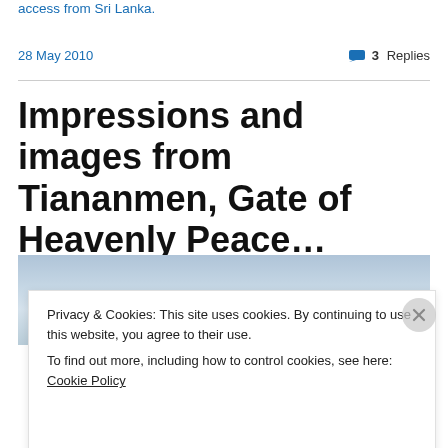access from Sri Lanka.
28 May 2010
3 Replies
Impressions and images from Tiananmen, Gate of Heavenly Peace…
[Figure (photo): Photo of sky/building at Tiananmen, partially obscured by cookie banner]
Privacy & Cookies: This site uses cookies. By continuing to use this website, you agree to their use.
To find out more, including how to control cookies, see here: Cookie Policy
Close and accept